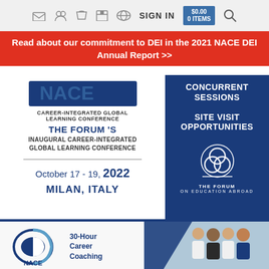SIGN IN
Read about our commitment to DEI in the 2021 NACE DEI Annual Report >>
[Figure (infographic): Career-Integrated Global Learning Conference promotional banner showing THE FORUM'S INAUGURAL CAREER-INTEGRATED GLOBAL LEARNING CONFERENCE, October 17-19, 2022, MILAN, ITALY with dates and location on left panel and CONCURRENT SESSIONS and SITE VISIT OPPORTUNITIES with The Forum on Education Abroad logo on right dark blue panel]
[Figure (infographic): NACE 30-Hour Career Coaching advertisement with NACE logo on left, text '30-Hour Career Coaching' in center, and photo of diverse group of professionals on right]